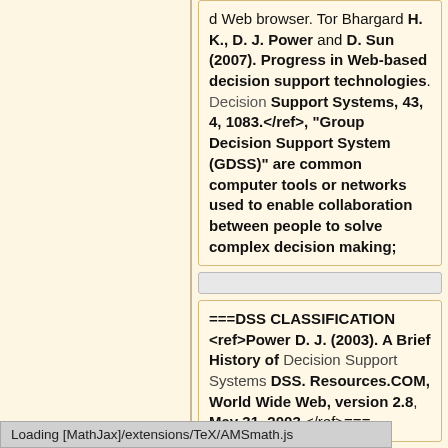d Web browser. Tor Bhargard H. K., D. J. Power and D. Sun (2007). Progress in Web-based decision support technologies. Decision Support Systems, 43, 4, 1083.</ref>, "Group Decision Support System (GDSS)" are common computer tools or networks used to enable collaboration between people to solve complex decision making;
===DSS CLASSIFICATION <ref>Power D. J. (2003). A Brief History of Decision Support Systems DSS. Resources.COM, World Wide Web, version 2.8, May 31, 2003.</ref>===
Loading [MathJax]/extensions/TeX/AMSmath.js